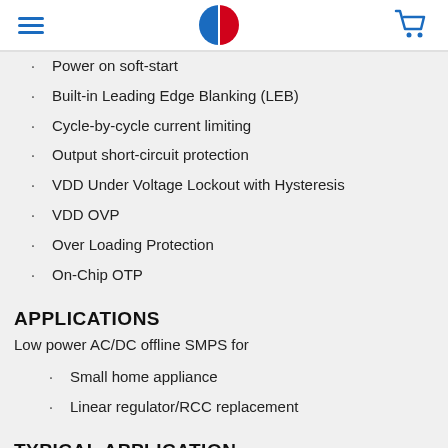Navigation header with hamburger menu, logo, and cart icon
Power on soft-start
Built-in Leading Edge Blanking (LEB)
Cycle-by-cycle current limiting
Output short-circuit protection
VDD Under Voltage Lockout with Hysteresis
VDD OVP
Over Loading Protection
On-Chip OTP
APPLICATIONS
Low power AC/DC offline SMPS for
Small home appliance
Linear regulator/RCC replacement
TYPICAL APPLICATION